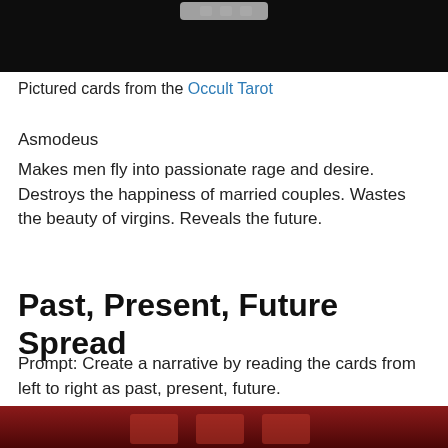[Figure (photo): Dark/black photograph of tarot cards, partially visible at the top of the page]
Pictured cards from the Occult Tarot
Asmodeus
Makes men fly into passionate rage and desire. Destroys the happiness of married couples. Wastes the beauty of virgins. Reveals the future.
Past, Present, Future Spread
Prompt: Create a narrative by reading the cards from left to right as past, present, future.
[Figure (photo): Dark red/crimson photograph of tarot cards, partially visible at the bottom of the page]